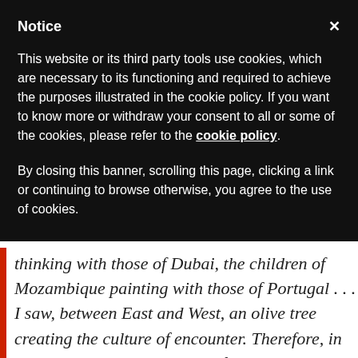Notice
This website or its third party tools use cookies, which are necessary to its functioning and required to achieve the purposes illustrated in the cookie policy. If you want to know more or withdraw your consent to all or some of the cookies, please refer to the cookie policy.
By closing this banner, scrolling this page, clicking a link or continuing to browse otherwise, you agree to the use of cookies.
thinking with those of Dubai, the children of Mozambique painting with those of Portugal . . . I saw, between East and West, an olive tree creating the culture of encounter. Therefore, in this new crisis that humanity faces today, where culture has shown to have lost its vitality, I wish to celebrate that Scholas, as a community that educates, as an